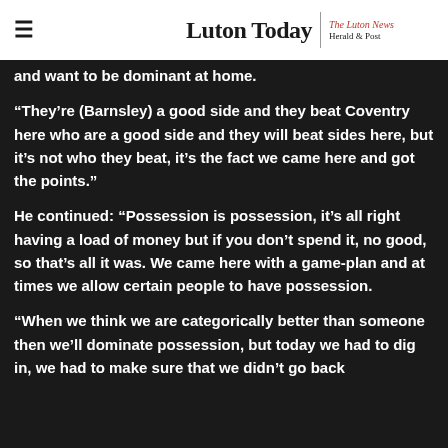Luton Today | The Luton News Herald & Post
and want to be dominant at home.
“They’re (Barnsley) a good side and they beat Coventry here who are a good side and they will beat sides here, but it’s not who they beat, it’s the fact we came here and got the points.”
He continued: “Possession is possession, it’s all right having a load of money but if you don’t spend it, no good, so that’s all it was. We came here with a game-plan and at times we allow certain people to have possession.
“When we think we are categorically better than someone then we’ll dominate possession, but today we had to dig in, we had to make sure that we didn’t go back